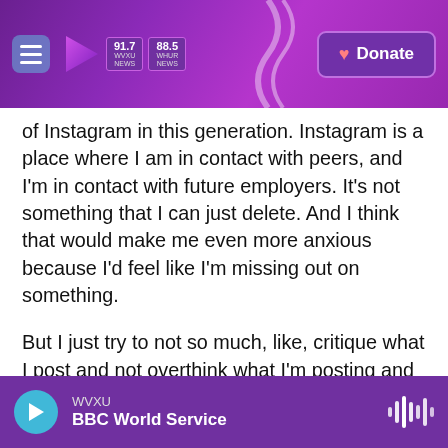WVXU 91.7 / WHUR 88.5 News | Donate
of Instagram in this generation. Instagram is a place where I am in contact with peers, and I'm in contact with future employers. It's not something that I can just delete. And I think that would make me even more anxious because I'd feel like I'm missing out on something.
But I just try to not so much, like, critique what I post and not overthink what I'm posting and what I'm saying. And I try to leave my phone alone and not just watch the notifications pop up and see who commented and see who liked it and see who didn't like it. But it is a process because I was just
WVXU — BBC World Service